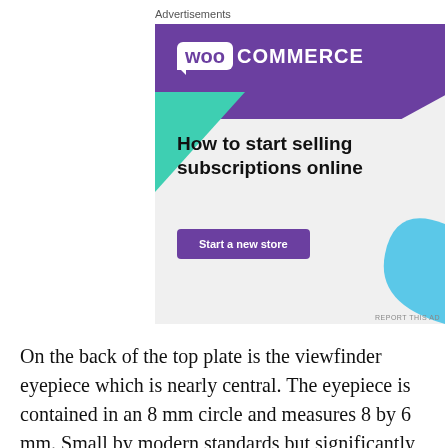Advertisements
[Figure (illustration): WooCommerce advertisement banner. Purple header with WooCommerce logo (white bubble with 'Woo' and 'COMMERCE' text). Light grey background with green triangle shape on left and blue curved shape on right. Text reads 'How to start selling subscriptions online' with a purple 'Start a new store' button. 'REPORT THIS AD' link at bottom right.]
On the back of the top plate is the viewfinder eyepiece which is nearly central. The eyepiece is contained in an 8 mm circle and measures 8 by 6 mm. Small by modern standards but significantly larger than was usual in the early 1950s. Inside